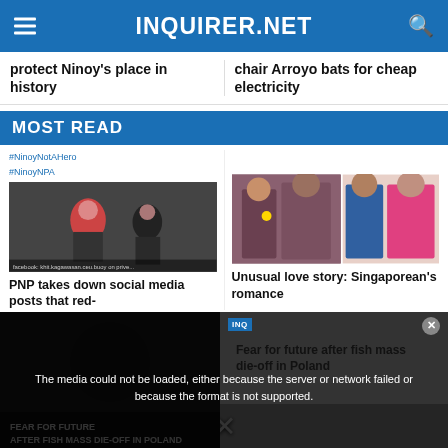INQUIRER.NET
protect Ninoy's place in history
chair Arroyo bats for cheap electricity
MOST READ
#NinoyNotAHero #NinoyNPA
[Figure (photo): Armed militant fighters with face paint and weapons]
PNP takes down social media posts that red-
[Figure (photo): Two photos: old photo of athlete with medal beside taller person, and a man with woman in pink shirt]
Unusual love story: Singaporean's romance
[Figure (photo): Video thumbnail: Fear for future after fish mass die-off in Poland, with overlay error message: The media could not be loaded, either because the server or network failed or because the format is not supported.]
Fear for future after fish mass die-off in Poland